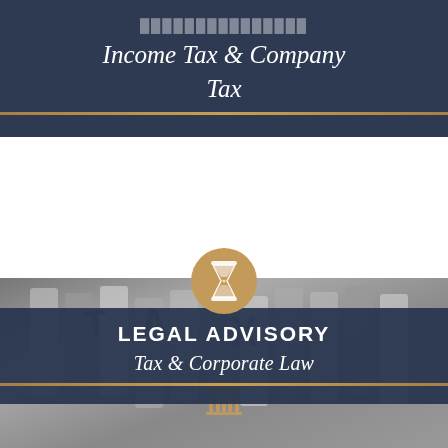[Figure (illustration): Top card section with dark navy background showing cursive/italic text 'Income Tax & Company Tax' with gold bottom border line, partially cropped at top]
[Figure (illustration): Middle section showing a grayscale photo of binder/file tabs with letters visible, overlaid with a gold hourglass circle icon, a dark navy overlay card showing 'LEGAL ADVISORY' in bold white uppercase and 'Tax & Corporate Law' in white italic script below with gold bottom border, and a dark wood-grain background in the lower portion with a small temple/columns icon]